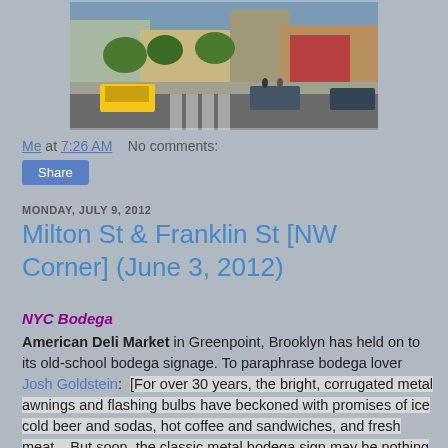[Figure (photo): Street scene photo showing a New York City intersection with a taxi cab, pedestrian crosswalk, storefronts, and parked cars on a sunny day]
Me at 7:26 AM   No comments:
Share
MONDAY, JULY 9, 2012
Milton St & Franklin St [NW Corner] (June 3, 2012)
NYC Bodega
American Deli Market in Greenpoint, Brooklyn has held on to its old-school bodega signage. To paraphrase bodega lover Josh Goldstein:  [For over 30 years, the bright, corrugated metal awnings and flashing bulbs have beckoned with promises of ice cold beer and sodas, hot coffee and sandwiches, and fresh meat... But soon, the classic metal bodega sign may be nothing more than a Goya-tinged memory]. Well said!